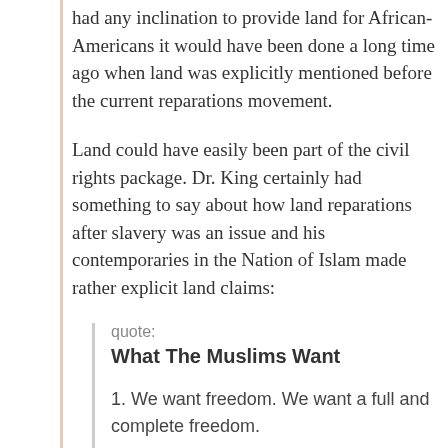had any inclination to provide land for African-Americans it would have been done a long time ago when land was explicitly mentioned before the current reparations movement.
Land could have easily been part of the civil rights package. Dr. King certainly had something to say about how land reparations after slavery was an issue and his contemporaries in the Nation of Islam made rather explicit land claims:
quote:
What The Muslims Want
1. We want freedom. We want a full and complete freedom.
2. We want justice. Equal justice under the law. We want justice applied equally to all,